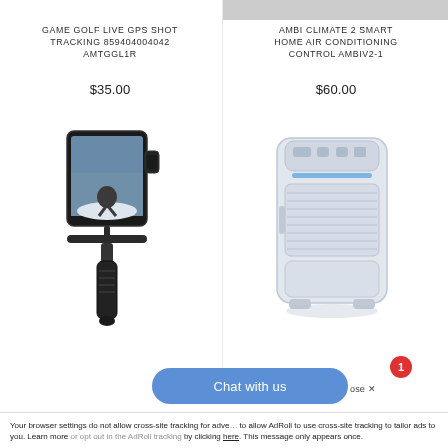[Figure (other): Partial grey image at top right, cut off]
GAME GOLF LIVE GPS SHOT TRACKING 859404004042 AMTGGL1R
$35.00
AMBI CLIMATE 2 SMART HOME AIR CONDITIONING CONTROL AMBIV2-1
$60.00
[Figure (photo): Smartphone gimbal stabilizer — a handheld 3-axis stabilizer with a smartphone mounted, showing a winter action shot on the screen]
[Figure (photo): Ambi Climate 2 smart home air conditioning control unit — a white rectangular device with blue LED stripe]
Chat with us
1
ose ✕
Your browser settings do not allow cross-site tracking for advertising. Update your browser settings to allow AdRoll to use cross-site tracking to tailor ads to you. Learn more or opt out in the AdRoll tracking by clicking here. This message only appears once.